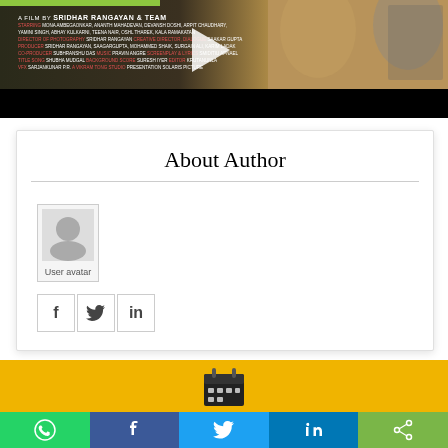[Figure (photo): Movie promotional banner for 'Evening Shadows' film by Sridhar Rangayan & Team, showing cast credits, social media handles, and faces of actors against an amber/dark background, with a play button overlay]
About Author
[Figure (photo): User avatar placeholder image]
[Figure (infographic): Social media icon buttons: Facebook (f), Twitter bird, LinkedIn (in)]
[Figure (photo): Yellow/amber background section with calendar icon]
[Figure (infographic): Bottom share bar with WhatsApp, Facebook, Twitter, LinkedIn and share buttons]